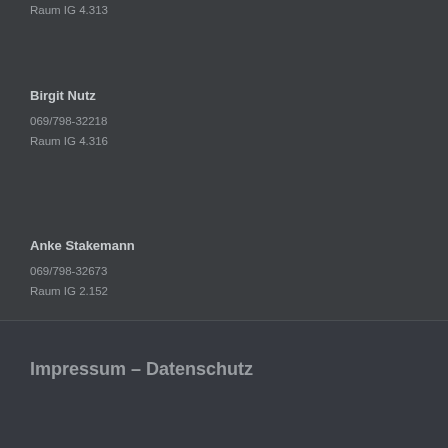Raum IG 4.313
Birgit Nutz
069/798-32218
Raum IG 4.316
Anke Stakemann
069/798-32673
Raum IG 2.152
Impressum – Datenschutz